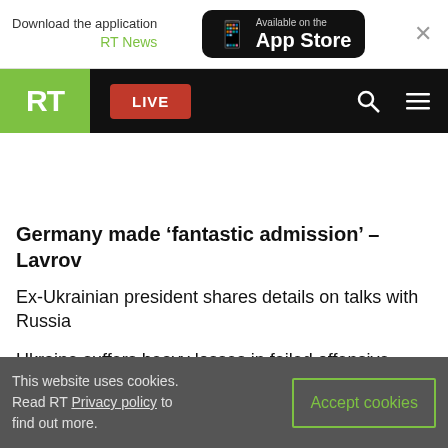Download the application RT News — Available on the App Store
[Figure (screenshot): RT News website navigation bar with green RT logo, red LIVE button, search and menu icons on black background]
Germany made ‘fantastic admission’ – Lavrov
Ex-Ukrainian president shares details on talks with Russia
Ukraine suffers heavy losses in failed offensive – Moscow
This website uses cookies. Read RT Privacy policy to find out more.
Accept cookies